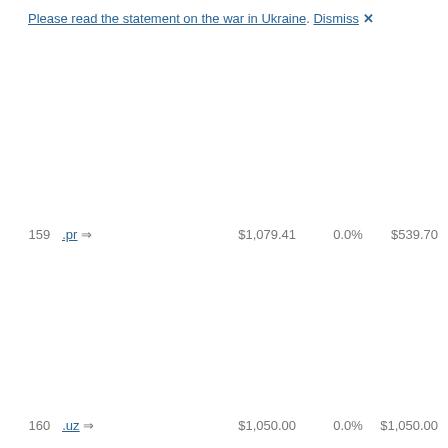Please read the statement on the war in Ukraine. Dismiss ✕
| # | Name | Price | Change % | Value |
| --- | --- | --- | --- | --- |
| 159 | .pr ⇒ | $1,079.41 | 0.0% | $539.70 |
| 160 | .uz ⇒ | $1,050.00 | 0.0% | $1,050.00 |